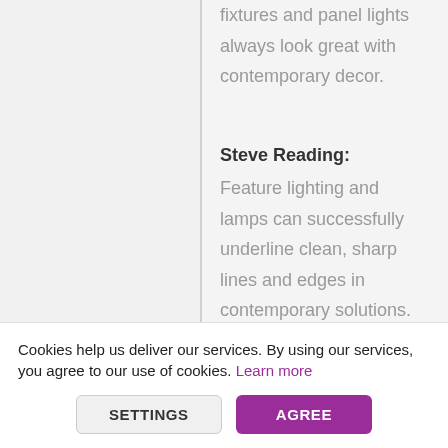fixtures and panel lights always look great with contemporary decor.
Steve Reading: Feature lighting and lamps can successfully underline clean, sharp lines and edges in contemporary solutions.
Cookies help us deliver our services. By using our services, you agree to our use of cookies. Learn more